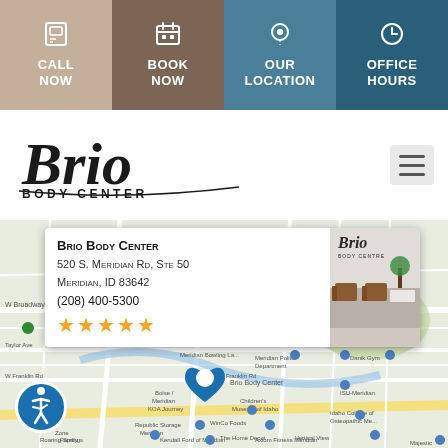[Figure (infographic): Navigation bar with four buttons: CALL NOW (tan), BOOK NOW (brown), OUR LOCATION (teal), OFFICE HOURS (dark teal), each with icon]
[Figure (logo): Brio Body Center logo in cursive script with BODY CENTER subtitle]
[Figure (map): Google Maps view of Meridian, ID showing Brio Body Center location with pin, popup info card showing address 520 S. Meridian Rd, Ste 50, Meridian, ID 83642, phone (208) 400-5300, and 5 star rating]